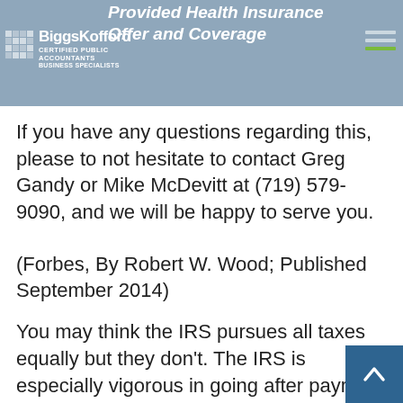Provided Health Insurance Offer and Coverage
If you have any questions regarding this, please to not hesitate to contact Greg Gandy or Mike McDevitt at (719) 579-9090, and we will be happy to serve you.
(Forbes, By Robert W. Wood; Published September 2014)
You may think the IRS pursues all taxes equally but they don't. The IRS is especially vigorous in going after payroll taxes withheld from wages that are not promptly paid to the government. This is